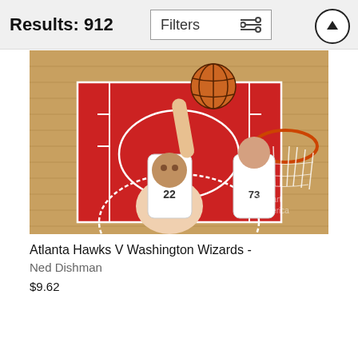Results: 912
[Figure (photo): Overhead view of a basketball game showing players from Atlanta Hawks (number 22) and Washington Wizards (number 73) near the basket during a game. Player 22 is reaching up toward the basketball while player 73 stands nearby. The court has a red painted area under the basket with white lines.]
Atlanta Hawks V Washington Wizards -
Ned Dishman
$9.62